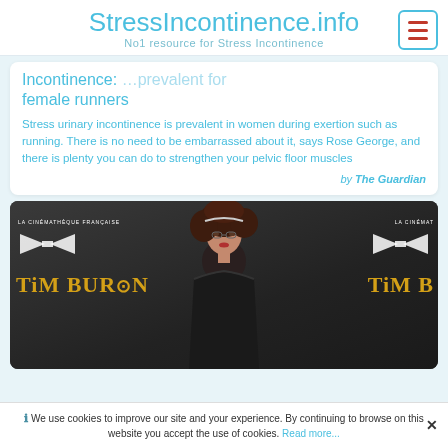StressIncontinence.info
No1 resource for Stress Incontinence
Incontinence: … prevalent for female runners
Stress urinary incontinence is prevalent in women during exertion such as running. There is no need to be embarrassed about it, says Rose George, and there is plenty you can do to strengthen your pelvic floor muscles
by The Guardian
[Figure (photo): Woman (actress Helena Bonham Carter) at a Tim Burton exhibition at La Cinémathèque Française, wearing black clothing, standing in front of Tim Burton branded backdrop]
We use cookies to improve our site and your experience. By continuing to browse on this website you accept the use of cookies. Read more...